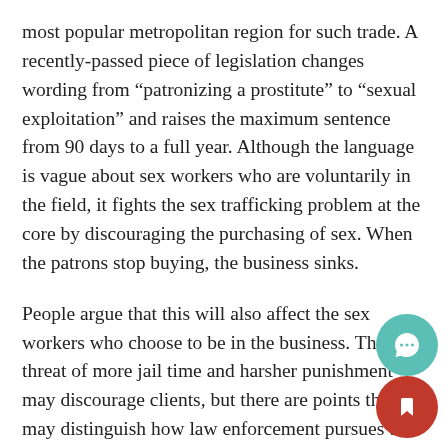most popular metropolitan region for such trade. A recently-passed piece of legislation changes wording from “patronizing a prostitute” to “sexual exploitation” and raises the maximum sentence from 90 days to a full year. Although the language is vague about sex workers who are voluntarily in the field, it fights the sex trafficking problem at the core by discouraging the purchasing of sex. When the patrons stop buying, the business sinks.
People argue that this will also affect the sex workers who choose to be in the business. The threat of more jail time and harsher punishment may discourage clients, but there are points that may distinguish how law enforcement pursues this type of prostitution compared to coerced sex work.
Independent workers have a relatively lower chance of getting prosecuted. Many professionals have rigorous screening processes, and will screen each client on a case-by-case basis. Everything is done discreetly and rarely runs the risk of presenting a problem big enough